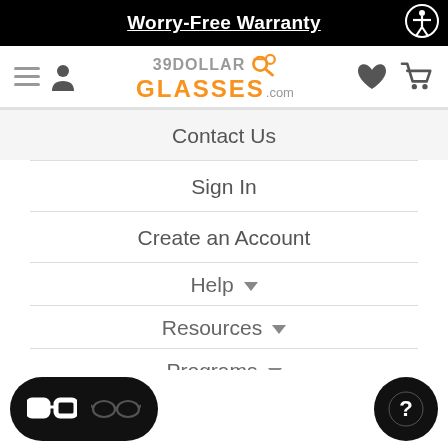Worry-Free Warranty
[Figure (screenshot): 39DollarGlasses.com website header with hamburger menu, user icon, logo, heart and cart icons]
Contact Us
Sign In
Create an Account
Help ▾
Resources ▾
Programs ▾
[Figure (screenshot): Bottom bar with glasses style toggle (thick/thin frames) and help question mark button]